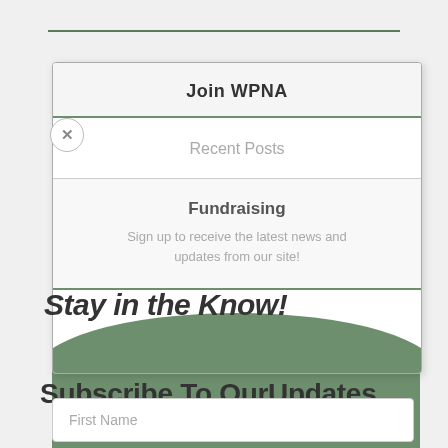Join WPNA
Recent Posts
Fundraising
Sign up to receive the latest news and updates from our site!
Stay in the Know!
Subscribe To Our Updates
Join our mailing list to receive the latest news and updates from our website.
First Name
Last Name
Email